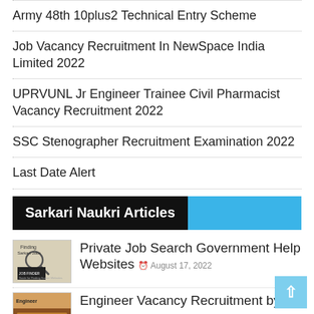Army 48th 10plus2 Technical Entry Scheme
Job Vacancy Recruitment In NewSpace India Limited 2022
UPRVUNL Jr Engineer Trainee Civil Pharmacist Vacancy Recruitment 2022
SSC Stenographer Recruitment Examination 2022
Last Date Alert
Sarkari Naukri Articles
Private Job Search Government Help Websites  August 17, 2022
Engineer Vacancy Recruitment by